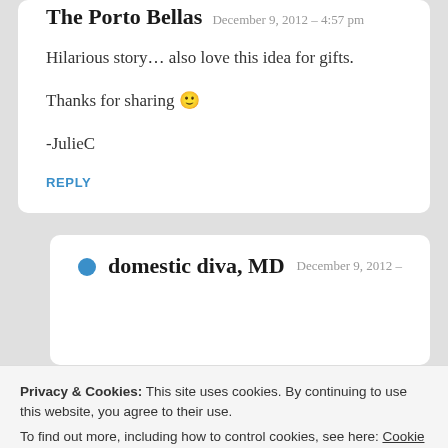The Porto Bellas — December 9, 2012 — 4:57 pm
Hilarious story… also love this idea for gifts.

Thanks for sharing 🙂

-JulieC
REPLY
domestic diva, MD — December 9, 2012 —
Privacy & Cookies: This site uses cookies. By continuing to use this website, you agree to their use.
To find out more, including how to control cookies, see here: Cookie Policy
Close and accept